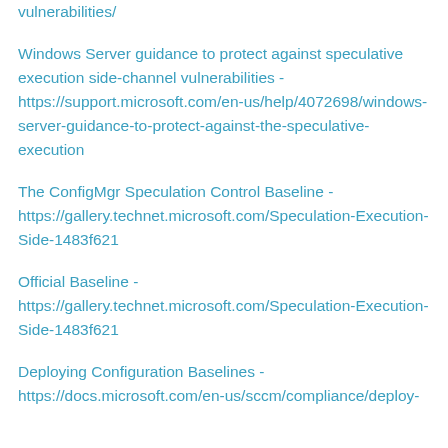vulnerabilities/
Windows Server guidance to protect against speculative execution side-channel vulnerabilities - https://support.microsoft.com/en-us/help/4072698/windows-server-guidance-to-protect-against-the-speculative-execution
The ConfigMgr Speculation Control Baseline - https://gallery.technet.microsoft.com/Speculation-Execution-Side-1483f621
Official Baseline - https://gallery.technet.microsoft.com/Speculation-Execution-Side-1483f621
Deploying Configuration Baselines - https://docs.microsoft.com/en-us/sccm/compliance/deploy-